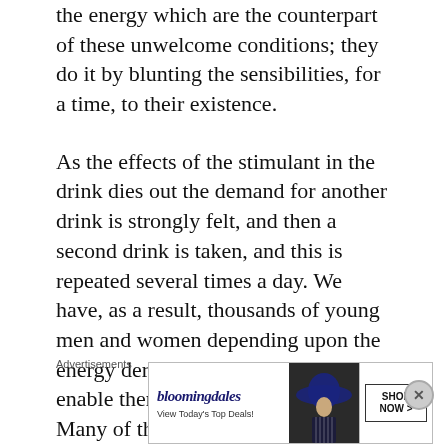the energy which are the counterpart of these unwelcome conditions; they do it by blunting the sensibilities, for a time, to their existence.
As the effects of the stimulant in the drink dies out the demand for another drink is strongly felt, and then a second drink is taken, and this is repeated several times a day. We have, as a result, thousands of young men and women depending upon the energy derived from these drinks to enable them to carry on their work. Many of them taking from three to a dozen or more of these medicated soda-fountain drinks each day. They will tell you that they feel totally unable
Advertisements
[Figure (other): Bloomingdale's advertisement banner with logo, 'View Today's Top Deals!' tagline, image of woman in large blue hat, and 'SHOP NOW >' button]